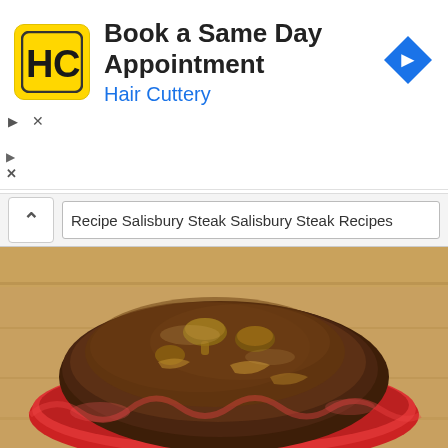[Figure (other): Advertisement banner for Hair Cuttery. Shows Hair Cuttery logo (HC initials in yellow square), text 'Book a Same Day Appointment' and 'Hair Cuttery' in blue, with a blue navigation arrow icon on the right.]
Recipe Salisbury Steak Salisbury Steak Recipes
[Figure (photo): Photo of a Salisbury steak with mushroom gravy served on a red plate, placed on a wooden surface.]